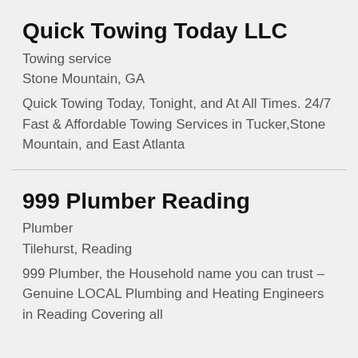Quick Towing Today LLC
Towing service
Stone Mountain, GA
Quick Towing Today, Tonight, and At All Times. 24/7 Fast & Affordable Towing Services in Tucker,Stone Mountain, and East Atlanta
999 Plumber Reading
Plumber
Tilehurst, Reading
999 Plumber, the Household name you can trust – Genuine LOCAL Plumbing and Heating Engineers in Reading Covering all